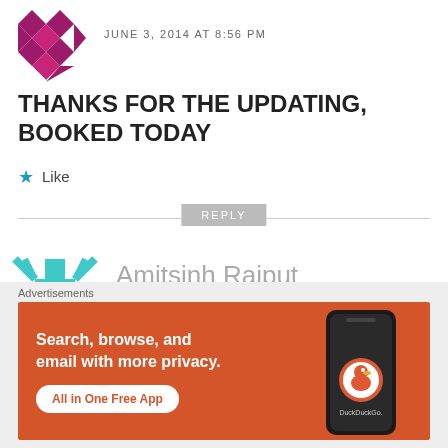JUNE 3, 2014 AT 8:56 PM
THANKS FOR THE UPDATING, BOOKED TODAY
Like
REPLY
Amitsinh Rajput
JUNE 3, 2014 AT 9:10 PM
Advertisements
Search, browse, and email with more privacy.
All in One Free App
DuckDuckGo.